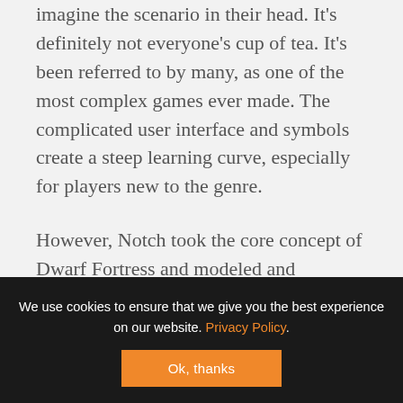imagine the scenario in their head. It's definitely not everyone's cup of tea. It's been referred to by many, as one of the most complex games ever made. The complicated user interface and symbols create a steep learning curve, especially for players new to the genre.
However, Notch took the core concept of Dwarf Fortress and modeled and improved upon it. He made the game user-friendly, eliminated the overly complicated interface, and added graphics. In his game dev blog, he documented that he didn't
We use cookies to ensure that we give you the best experience on our website. Privacy Policy. Ok, thanks